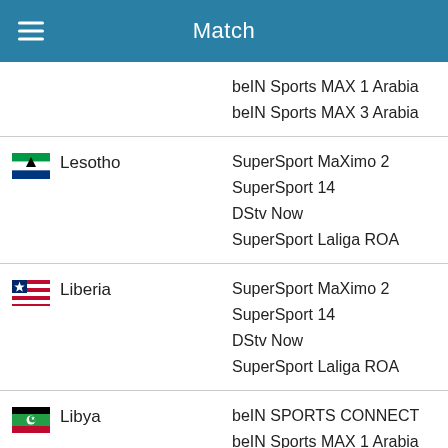Match
beIN Sports MAX 1 Arabia
beIN Sports MAX 3 Arabia
Lesotho: SuperSport MaXimo 2, SuperSport 14, DStv Now, SuperSport Laliga ROA
Liberia: SuperSport MaXimo 2, SuperSport 14, DStv Now, SuperSport Laliga ROA
Libya: beIN SPORTS CONNECT, beIN Sports MAX 1 Arabia, beIN Sports MAX 3 Arabia
Lithuania: (partial)